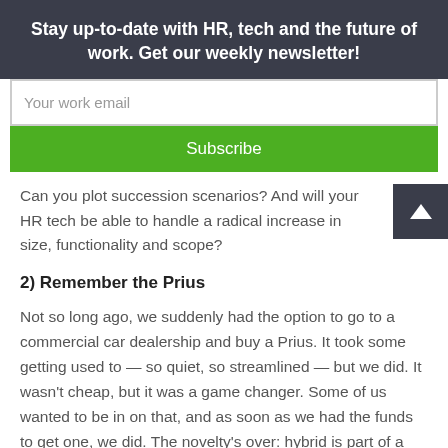Stay up-to-date with HR, tech and the future of work. Get our weekly newsletter!
Your work email
Subscribe
Can you plot succession scenarios? And will your HR tech be able to handle a radical increase in size, functionality and scope?
2) Remember the Prius
Not so long ago, we suddenly had the option to go to a commercial car dealership and buy a Prius. It took some getting used to — so quiet, so streamlined — but we did. It wasn't cheap, but it was a game changer. Some of us wanted to be in on that, and as soon as we had the funds to get one, we did. The novelty's over: hybrid is part of a better normal. We're about to be there in HR.